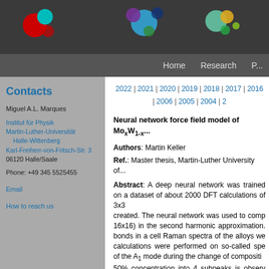[Figure (photo): Molecule/atom images in dark header bar]
Home | Research | P...
Contacts
Miguel A.L. Marques
Institut für Physik
Martin-Luther-Universität Halle-Wittenberg
Karl-Freiherr-von-Fritsch-Str. 3
06120 Halle/Saale
Phone: +49 345 5525455
Email
How to reach us
2022 | 2021 | 2020 | 2019 | 2018 | 2017 | 2016 | 2006 | 2005 | 2004 | 2...
Neural network force field model of MoxW1-x...
Authors: Martin Keller
Ref.: Master thesis, Martin-Luther University of...
Abstract: A deep neural network was trained on a dataset of about 2000 DFT calculations of 3x3... created. The neural network was used to comp... 16x16) in the second harmonic approximation. bonds in a cell Raman spectra of the alloys we... calculations were performed on so-called spe... of the A1 mode during the change of compositi... 50% concentration into 4 subpeaks is observ... subpeaks and the different environments of th... structures usually used for alloy calculations an... was used to compute the thermal conductivity... and the relaxation time approximation. The re...